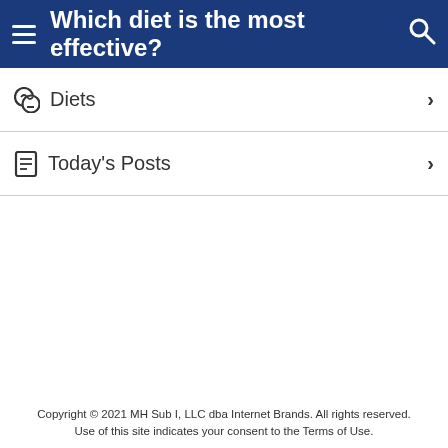Which diet is the most effective?
Diets
Today's Posts
Copyright © 2021 MH Sub I, LLC dba Internet Brands. All rights reserved. Use of this site indicates your consent to the Terms of Use.